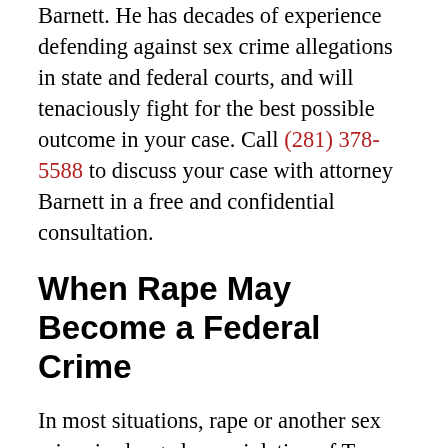Barnett. He has decades of experience defending against sex crime allegations in state and federal courts, and will tenaciously fight for the best possible outcome in your case. Call (281) 378-5588 to discuss your case with attorney Barnett in a free and confidential consultation.
When Rape May Become a Federal Crime
In most situations, rape or another sex crime is charged as a violation of Texas law. If you are accused of committing a sexual offense in Texas, you will be charged with a state-level crime and tried in your local court system. On the other hand, rape and other sex offenses can be violations of both state and federal law